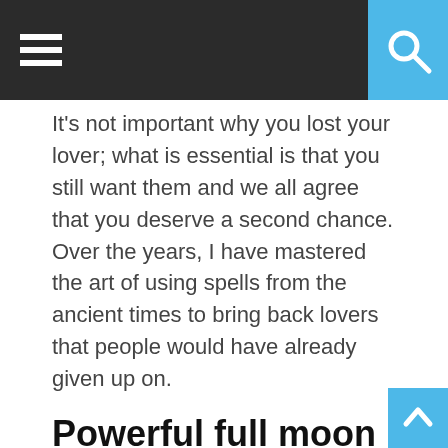Navigation header with hamburger menu and search button
It's not important why you lost your lover; what is essential is that you still want them and we all agree that you deserve a second chance. Over the years, I have mastered the art of using spells from the ancient times to bring back lovers that people would have already given up on.
Powerful full moon love spells
I know that the reason why you are reading this is that you still love the person that left you. However, before I assist you to cast a spell to bring back a person you like, I want to ensure that you have decided that this person is the individual you are comfortable spending